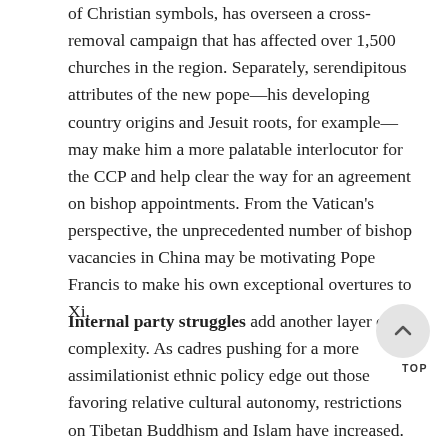of Christian symbols, has overseen a cross-removal campaign that has affected over 1,500 churches in the region. Separately, serendipitous attributes of the new pope—his developing country origins and Jesuit roots, for example—may make him a more palatable interlocutor for the CCP and help clear the way for an agreement on bishop appointments. From the Vatican's perspective, the unprecedented number of bishop vacancies in China may be motivating Pope Francis to make his own exceptional overtures to Xi.
Internal party struggles add another layer of complexity. As cadres pushing for a more assimilationist ethnic policy edge out those favoring relative cultural autonomy, restrictions on Tibetan Buddhism and Islam have increased. More positively, after former security czar Zhou Yongkang and other officials overseeing the anti-Falun Gong effort were